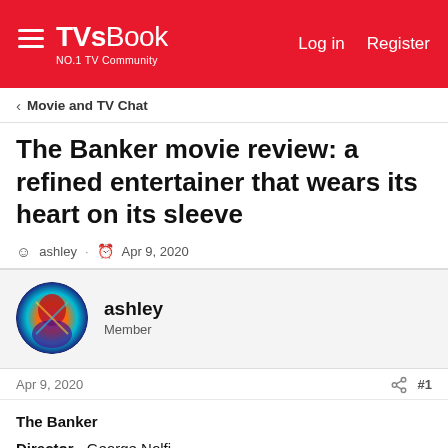TVsBook NO.1 TV Community  Log in  Register
Movie and TV Chat
The Banker movie review: a refined entertainer that wears its heart on its sleeve
ashley · Apr 9, 2020
ashley
Member
Apr 9, 2020  #1
The Banker
Director - George Nolfi
Cast - Anthony Mackie, Samuel L Jackson, Nicholas Hoult, Nia Long

Two black men in segregated United States used legal